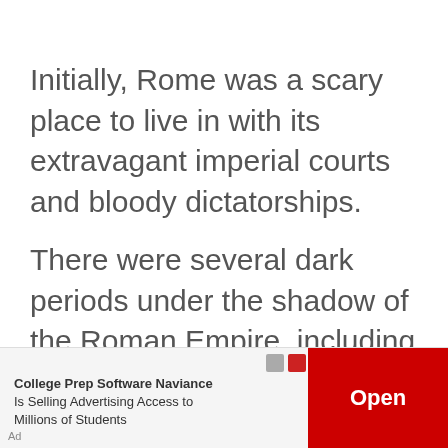Initially, Rome was a scary place to live in with its extravagant imperial courts and bloody dictatorships.
There were several dark periods under the shadow of the Roman Empire, including an era of intense religious persecution that would come to be called The Dark Ages.
Violence, sexual assault, and class